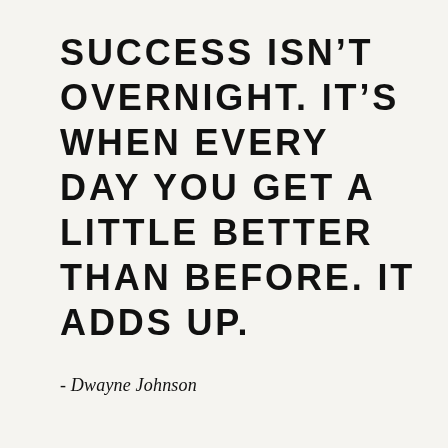SUCCESS ISN’T OVERNIGHT. IT’S WHEN EVERY DAY YOU GET A LITTLE BETTER THAN BEFORE. IT ADDS UP.
- Dwayne Johnson